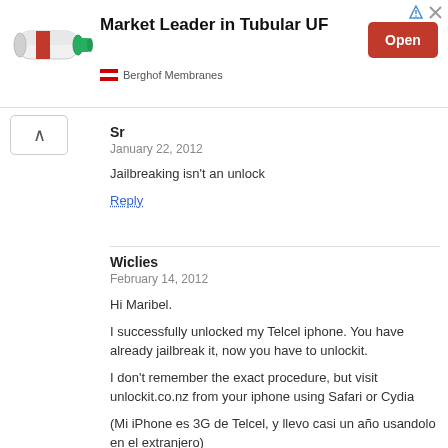[Figure (infographic): Advertisement banner for Berghof Membranes showing a tubular membrane product image, bold text 'Market Leader in Tubular UF', a red 'Open' button, company name 'Berghof Membranes', and ad corner icons.]
Sr
January 22, 2012

Jailbreaking isn't an unlock

Reply
Wiclies
February 14, 2012

Hi Maribel.

I successfully unlocked my Telcel iphone. You have already jailbreak it, now you have to unlockit.

I don't remember the exact procedure, but visit unlockit.co.nz from your iphone using Safari or Cydia

(Mi iPhone es 3G de Telcel, y llevo casi un año usandolo en el extranjero)